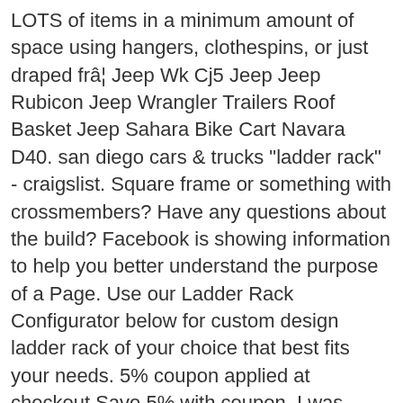LOTS of items in a minimum amount of space using hangers, clothespins, or just draped frâ¦ Jeep Wk Cj5 Jeep Jeep Rubicon Jeep Wrangler Trailers Roof Basket Jeep Sahara Bike Cart Navara D40. san diego cars & trucks "ladder rack" - craigslist. Square frame or something with crossmembers? Have any questions about the build? Facebook is showing information to help you better understand the purpose of a Page. Use our Ladder Rack Configurator below for custom design ladder rack of your choice that best fits your needs. 5% coupon applied at checkout Save 5% with coupon. I was thinking about a rack for the bed and was wondering if anyone's made their own. Top 25 Rigs #Sema2019. or. Tl;dr updated 4/21/19 6. Toyota Hilux Toyota 4x4 Toyota Trucks Custom Trucks Pickup Trucks Custom Truck Beds Lifted Ford Trucks Navara D40 Nissan Navara. For about $25 you can easily build a drying rack that hangs from a ladder on your RV and has many wonderful features including:. How to Build a Truck Camper â The Steps. Backrack | 15026 | Truck Bed Short Headache Rack |'02-'20 Dodge Ram 8ft. Minivan Ladder